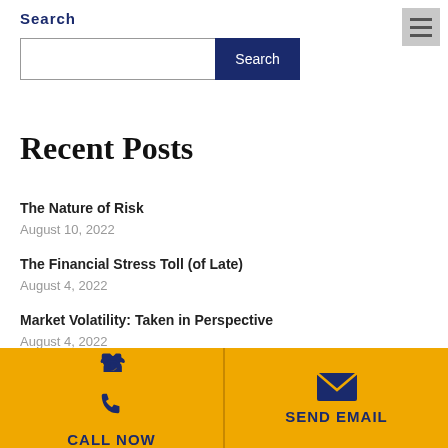Search
[Figure (other): Search input box with dark navy Search button]
[Figure (other): Hamburger menu icon (three horizontal lines) in gray box, top right corner]
Recent Posts
The Nature of Risk
August 10, 2022
The Financial Stress Toll (of Late)
August 4, 2022
Market Volatility: Taken in Perspective
CALL NOW   SEND EMAIL